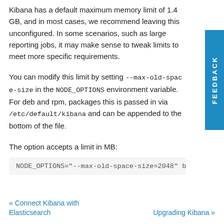Kibana has a default maximum memory limit of 1.4 GB, and in most cases, we recommend leaving this unconfigured. In some scenarios, such as large reporting jobs, it may make sense to tweak limits to meet more specific requirements.
You can modify this limit by setting --max-old-space-size in the NODE_OPTIONS environment variable. For deb and rpm, packages this is passed in via /etc/default/kibana and can be appended to the bottom of the file.
The option accepts a limit in MB:
« Connect Kibana with Elasticsearch   Upgrading Kibana »